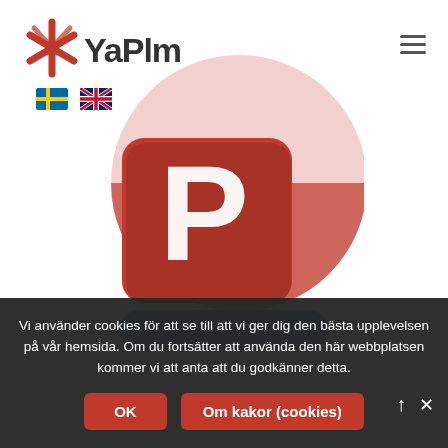[Figure (logo): YaPIm logo with red starburst/asterisk icon and bold text 'YaPlm']
[Figure (illustration): Swedish flag emoji and UK flag emoji as language selectors]
[Figure (illustration): Microsoft PowerPoint app icon - large circle with pink/red gradient background and white P letter on orange-red rounded square]
[Figure (illustration): Blue rounded rectangle button partially visible]
Vi använder cookies för att se till att vi ger dig den bästa upplevelsen på vår hemsida. Om du fortsätter att använda den här webbplatsen kommer vi att anta att du godkänner detta.
OK
Om kakor (cookies)